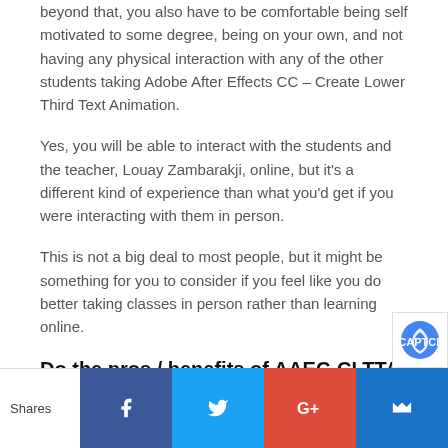beyond that, you also have to be comfortable being self motivated to some degree, being on your own, and not having any physical interaction with any of the other students taking Adobe After Effects CC – Create Lower Third Text Animation.
Yes, you will be able to interact with the students and the teacher, Louay Zambarakji, online, but it's a different kind of experience than what you'd get if you were interacting with them in person.
This is not a big deal to most people, but it might be something for you to consider if you feel like you do better taking classes in person rather than learning online.
Do the pros / benefits of AAEC-CLTTA make it worth your time?